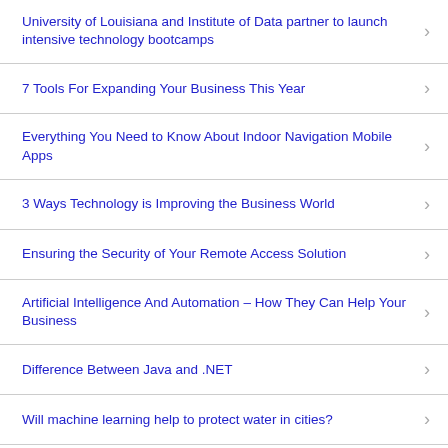University of Louisiana and Institute of Data partner to launch intensive technology bootcamps
7 Tools For Expanding Your Business This Year
Everything You Need to Know About Indoor Navigation Mobile Apps
3 Ways Technology is Improving the Business World
Ensuring the Security of Your Remote Access Solution
Artificial Intelligence And Automation – How They Can Help Your Business
Difference Between Java and .NET
Will machine learning help to protect water in cities?
Gartner Identifies Key Emerging Technologies Expanding Immersive Experiences, Accelerating AI Automation and Optimizing Technologist Delivery